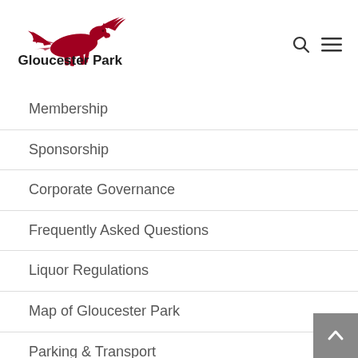Gloucester Park
Membership
Sponsorship
Corporate Governance
Frequently Asked Questions
Liquor Regulations
Map of Gloucester Park
Parking & Transport
Committee & Executive Staff